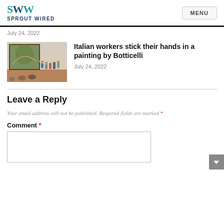SW SPROUT WIRED | MENU
July 24, 2022
[Figure (photo): People in a gallery looking at a large painting, some with hands extended toward it]
Italian workers stick their hands in a painting by Botticelli
July 24, 2022
Leave a Reply
Your email address will not be published. Required fields are marked *
Comment *